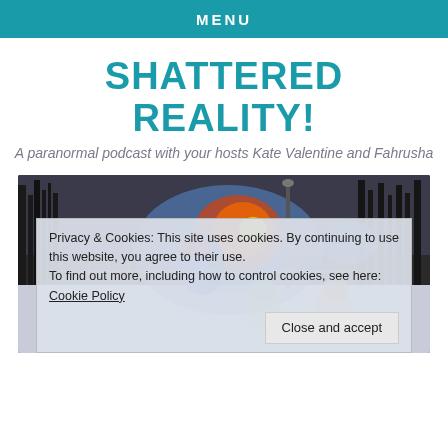MENU
SHATTERED REALITY!
A paranormal podcast with your hosts Kate Valentine and Fahrusha
[Figure (photo): A paranormal-themed image showing a winter outdoor scene in black and white with colorful thermal/aura overlay effects. Two ghostly humanoid figures (one green, one tan/brown) stand in the foreground, with a large orange/blue orb shape glowing near a lamppost, surrounded by trees.]
Privacy & Cookies: This site uses cookies. By continuing to use this website, you agree to their use.
To find out more, including how to control cookies, see here: Cookie Policy
Close and accept